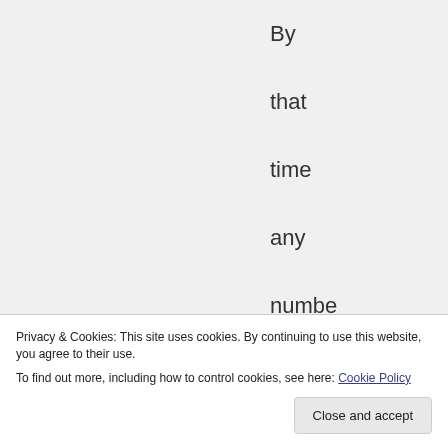By that time any number of other postings may have a
Privacy & Cookies: This site uses cookies. By continuing to use this website, you agree to their use.
To find out more, including how to control cookies, see here: Cookie Policy
Close and accept